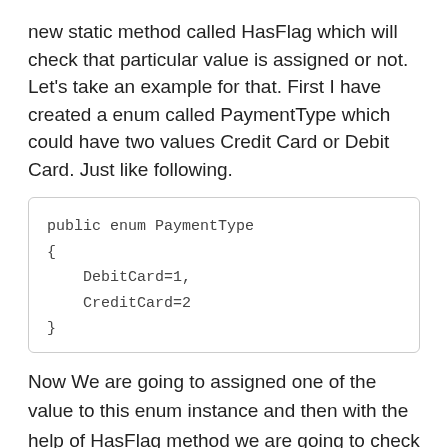new static method called HasFlag which will check that particular value is assigned or not. Let's take an example for that. First I have created a enum called PaymentType which could have two values Credit Card or Debit Card. Just like following.
[Figure (screenshot): Code block showing public enum PaymentType with DebitCard=1 and CreditCard=2]
Now We are going to assigned one of the value to this enum instance and then with the help of HasFlag method we are going to check whether particular value is assigned to enum or not like